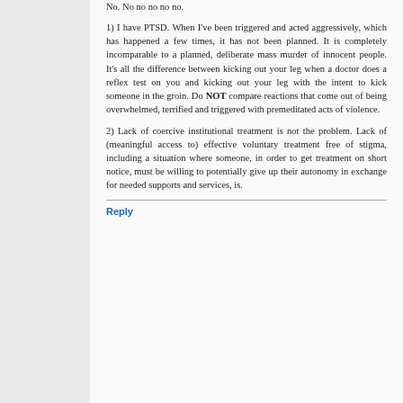No. No no no no no.
1) I have PTSD. When I've been triggered and acted aggressively, which has happened a few times, it has not been planned. It is completely incomparable to a planned, deliberate mass murder of innocent people. It's all the difference between kicking out your leg when a doctor does a reflex test on you and kicking out your leg with the intent to kick someone in the groin. Do NOT compare reactions that come out of being overwhelmed, terrified and triggered with premeditated acts of violence.
2) Lack of coercive institutional treatment is not the problem. Lack of (meaningful access to) effective voluntary treatment free of stigma, including a situation where someone, in order to get treatment on short notice, must be willing to potentially give up their autonomy in exchange for needed supports and services, is.
Reply